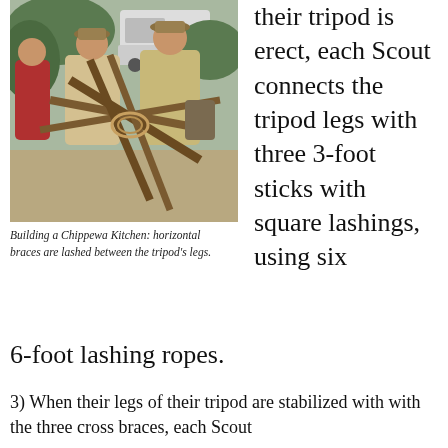[Figure (photo): Scouts working together to lash horizontal braces between tripod legs using ropes and wooden poles outdoors near a white truck]
Building a Chippewa Kitchen: horizontal braces are lashed between the tripod’s legs.
their tripod is erect, each Scout connects the tripod legs with three 3-foot sticks with square lashings, using six 6-foot lashing ropes.
3) When their legs of their tripod are stabilized with with the three cross braces, each Scout